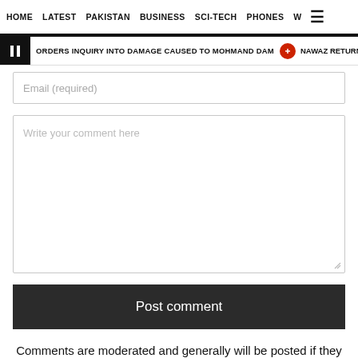HOME   LATEST   PAKISTAN   BUSINESS   SCI-TECH   PHONES   W ☰
ORDERS INQUIRY INTO DAMAGE CAUSED TO MOHMAND DAM  •  NAWAZ RETURNS
Email (required)
Write your comment here
Post comment
Comments are moderated and generally will be posted if they are on-topic and not abusive.
For more information, please see our Comments FAQ